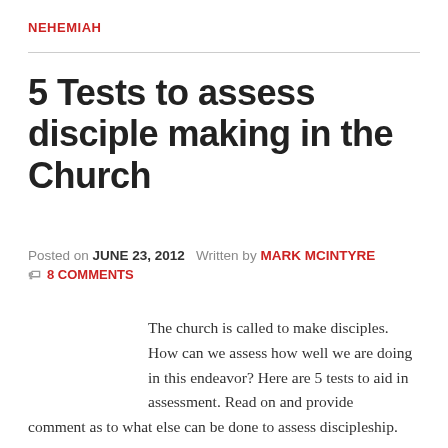NEHEMIAH
5 Tests to assess disciple making in the Church
Posted on JUNE 23, 2012   Written by MARK MCINTYRE
🏷 8 COMMENTS
The church is called to make disciples. How can we assess how well we are doing in this endeavor? Here are 5 tests to aid in assessment. Read on and provide comment as to what else can be done to assess discipleship.